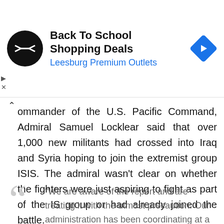[Figure (screenshot): Advertisement banner: Back To School Shopping Deals at Leesburg Premium Outlets, with circular black logo icon with double-arrow symbol on left, blue diamond navigation icon on right]
Commander of the U.S. Pacific Command, Admiral Samuel Locklear said that over 1,000 new militants had crossed into Iraq and Syria hoping to join the extremist group ISIS. The admiral wasn't clear on whether the fighters were just aspiring to fight as part of the IS group or had already joined the battle.
“We are aware of the report and are treating it with the utmost precaution. Our administration has been coordinating at a high